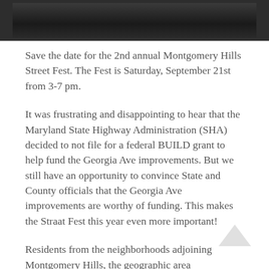[Figure (photo): Dark/chalkboard style photo bar at top of page]
Save the date for the 2nd annual Montgomery Hills Street Fest.  The Fest is Saturday, September 21st from 3-7 pm.
It was frustrating and disappointing to hear that the Maryland State Highway Administration (SHA) decided to not file for a federal BUILD grant to help fund the Georgia Ave improvements.  But we still have an opportunity to convince State and County officials that the Georgia Ave improvements are worthy of funding. This makes the Straat Fest this year even more important!
Residents from the neighborhoods adjoining Montgomery Hills, the geographic area...